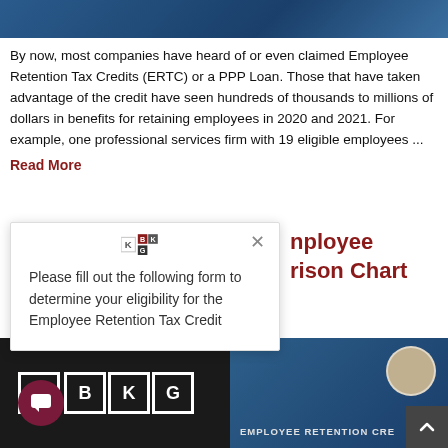[Figure (photo): Dark blue header image strip at top of page]
By now, most companies have heard of or even claimed Employee Retention Tax Credits (ERTC) or a PPP Loan. Those that have taken advantage of the credit have seen hundreds of thousands to millions of dollars in benefits for retaining employees in 2020 and 2021. For example, one professional services firm with 19 eligible employees ... Read More
[Figure (screenshot): Modal popup with KBKG logo asking user to fill out form to determine eligibility for Employee Retention Tax Credit]
nployee rison Chart
[Figure (photo): Bottom left: dark background with KBKG logo and chat bubble icon]
[Figure (photo): Bottom right: dark blue background with EMPLOYEE RETENTION CRE text and person portrait circle]